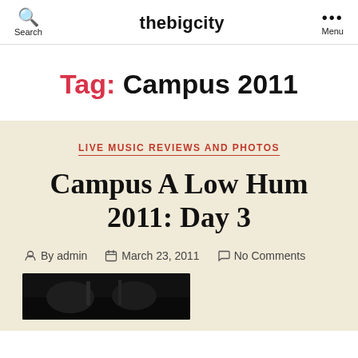Search | thebigcity | Menu
Tag: Campus 2011
LIVE MUSIC REVIEWS AND PHOTOS
Campus A Low Hum 2011: Day 3
By admin  March 23, 2011  No Comments
[Figure (photo): Dark concert photo preview at bottom of page]